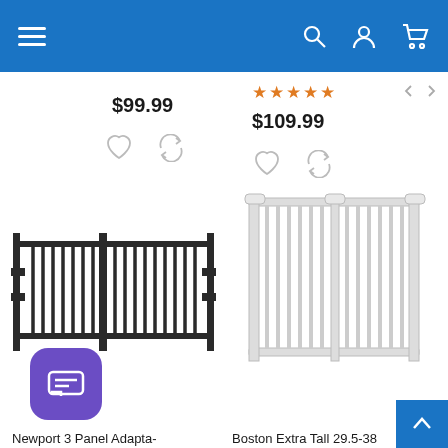[Figure (screenshot): E-commerce website navigation bar with hamburger menu, search, account, and cart icons on blue background]
$99.99
$109.99
[Figure (photo): Newport 3 Panel Adapta-Gate - wide dark metal baby/pet gate with multiple panels]
[Figure (photo): Boston Extra Tall 29.5-38 - white metal baby gate]
Newport 3 Panel Adapta-
Boston Extra Tall 29.5-38